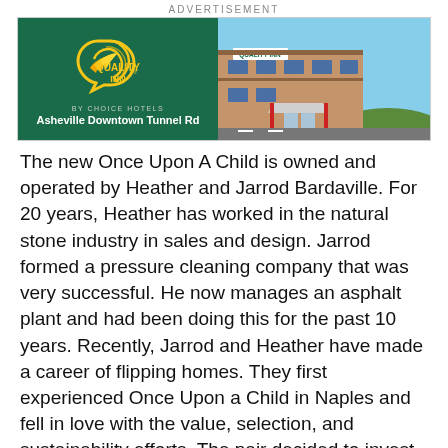ADVERTISEMENT
[Figure (photo): Quality Inn advertisement banner showing logo on green background on left and hotel building exterior on right. Text reads 'Quality Inn by Choice Hotels, Asheville Downtown Tunnel Rd']
The new Once Upon A Child is owned and operated by Heather and Jarrod Bardaville. For 20 years, Heather has worked in the natural stone industry in sales and design. Jarrod formed a pressure cleaning company that was very successful. He now manages an asphalt plant and had been doing this for the past 10 years. Recently, Jarrod and Heather have made a career of flipping homes. They first experienced Once Upon a Child in Naples and fell in love with the value, selection, and sustainability efforts. The pair decided to invest in Once Upon a Child because they knew they could help many families directly with its affordable options and stylish selection. This is their first location, but they have plans to open one more in Asheville and eventually expand to surrounding areas. This location will bring over 20 new jobs to the area.